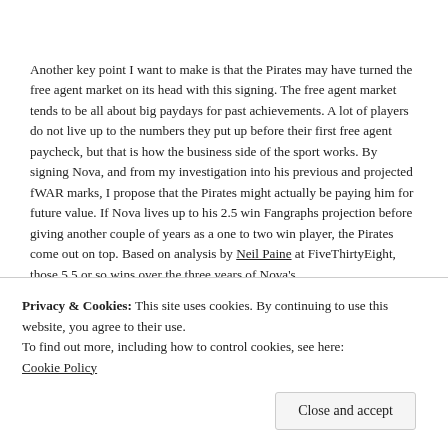Another key point I want to make is that the Pirates may have turned the free agent market on its head with this signing. The free agent market tends to be all about big paydays for past achievements. A lot of players do not live up to the numbers they put up before their first free agent paycheck, but that is how the business side of the sport works. By signing Nova, and from my investigation into his previous and projected fWAR marks, I propose that the Pirates might actually be paying him for future value. If Nova lives up to his 2.5 win Fangraphs projection before giving another couple of years as a one to two win player, the Pirates come out on top. Based on analysis by Neil Paine at FiveThirtyEight, those 5.5 or so wins over the three years of Nova's contract would be worth over $40 million on the open market. This
Privacy & Cookies: This site uses cookies. By continuing to use this website, you agree to their use.
To find out more, including how to control cookies, see here: Cookie Policy
Close and accept